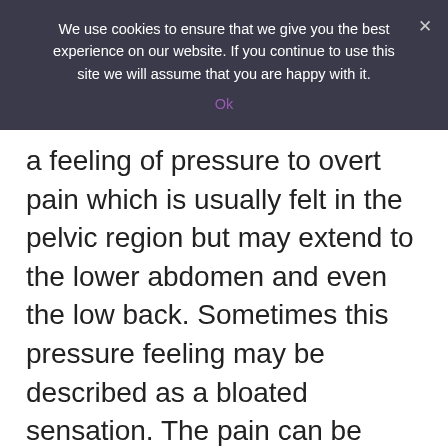We use cookies to ensure that we give you the best experience on our website. If you continue to use this site we will assume that you are happy with it.
Ok
a feeling of pressure to overt pain which is usually felt in the pelvic region but may extend to the lower abdomen and even the low back. Sometimes this pressure feeling may be described as a bloated sensation. The pain can be continuous or intermittent. Pain during sexual intercourse may also be reported. However, there may also be no discomfort or pain in many cases of